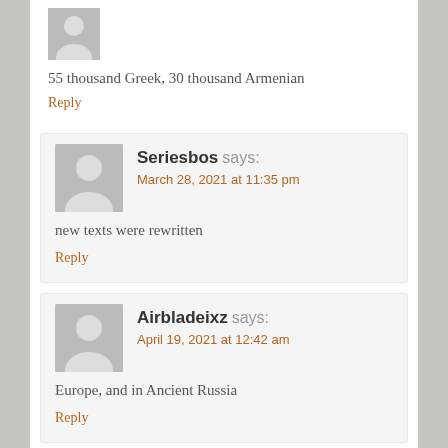55 thousand Greek, 30 thousand Armenian
Reply
Seriesbos says:
March 28, 2021 at 11:35 pm
new texts were rewritten
Reply
Airbladeixz says:
April 19, 2021 at 12:42 am
Europe, and in Ancient Russia
Reply
WILDKATww says: